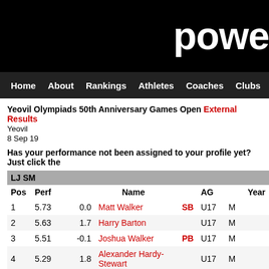powe
Home About Rankings Athletes Coaches Clubs Highlight
Yeovil Olympiads 50th Anniversary Games Open External Results
Yeovil
8 Sep 19
Has your performance not been assigned to your profile yet? Just click the
| Pos | Perf |  | Name |  | AG |  | Year |
| --- | --- | --- | --- | --- | --- | --- | --- |
| LJ SM |  |  |  |  |  |  |  |
| Pos | Perf |  | Name |  | AG |  | Year |
| 1 | 5.73 | 0.0 | Matt Walker | SB | U17 | M |  |
| 2 | 5.63 | 1.7 | Harry Barton |  | U17 | M |  |
| 3 | 5.51 | -0.1 | Joshua Walker | PB | U17 | M |  |
| 4 | 5.29 | 1.8 | Alexander Hardy-Stewart |  | U17 | M |  |
| 5 | 5.19 | 0.8 | Paul Guest |  | V55 | M |  |
| LJ U13M |  |  |  |  |  |  |  |
| Pos | Perf |  | Name |  | AG |  | Year |